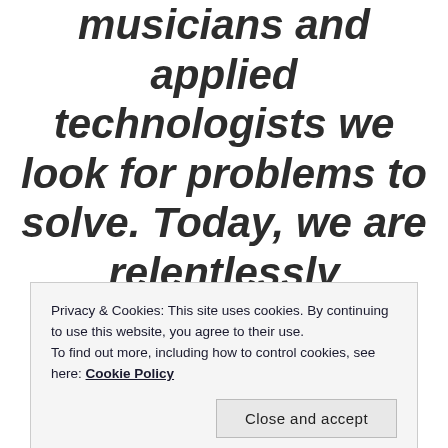musicians and applied technologists we look for problems to solve. Today, we are relentlessly elevating and instinctively wanting to perfect things around us to make them
Privacy & Cookies: This site uses cookies. By continuing to use this website, you agree to their use.
To find out more, including how to control cookies, see here: Cookie Policy
Close and accept
repairing the world. We